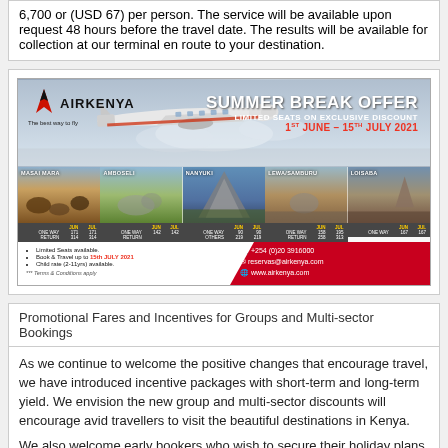6,700 or (USD 67) per person. The service will be available upon request 48 hours before the travel date. The results will be available for collection at our terminal en route to your destination.
[Figure (infographic): Air Kenya Summer Break Offer advertisement. Features a small aircraft in flight against a sky background. Headline: SUMMER BREAK OFFER. Subtext: LIMITED SEATS ON EXCLUSIVE DISCOUNT. Dates: 1ST JUNE – 15TH JULY 2021. Shows five destination thumbnails: Masai Mara, Amboseli, Nanyuki, Lewa/Samburu, Loisaba, each with pricing tables. Contact info: +254 (0)20 3916000, reservas@airkenya.com, www.airkenya.com. Bullets: Limited Seats available, Book & Travel up to 15th JULY 2021, Child rate (2-11yrs) available. *** Terms & Conditions apply.]
Promotional Fares and Incentives for Groups and Multi-sector Bookings
As we continue to welcome the positive changes that encourage travel, we have introduced incentive packages with short-term and long-term yield. We envision the new group and multi-sector discounts will encourage avid travellers to visit the beautiful destinations in Kenya.
We also welcome early bookers who wish to secure their holiday plans. We have opened limited seats on exclusive discounts for travel dates between now and 15th